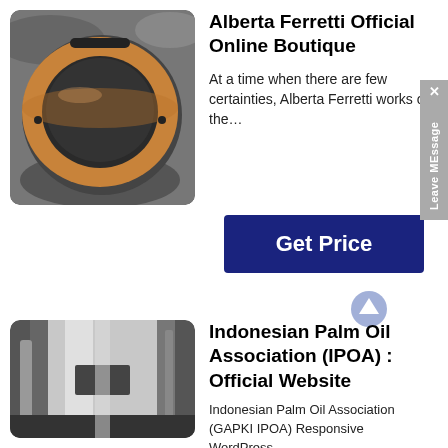[Figure (photo): Close-up photo of a metal flange or bushing ring with bronze/copper coloring on a dark background]
Alberta Ferretti Official Online Boutique
At a time when there are few certainties, Alberta Ferretti works on the…
[Figure (other): Leave MEssage sidebar tab with X close button, gray background]
[Figure (other): Get Price dark blue button]
[Figure (other): Upward arrow icon in circle below Get Price button]
[Figure (photo): Close-up photo of a polished cylindrical metal sleeve or liner with a rectangular cutout]
Indonesian Palm Oil Association (IPOA) : Official Website
Indonesian Palm Oil Association (GAPKI IPOA) Responsive WordPress…